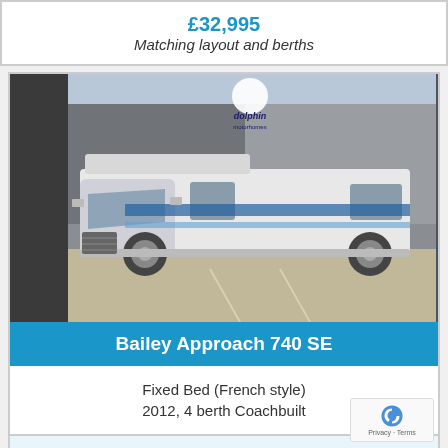£32,995
Matching layout and berths
[Figure (photo): Photograph of a Bailey Approach 740 SE motorhome (white with blue graphics) parked in front of Dolphin Motorhomes dealership building]
Bailey Approach 740 SE
Fixed Bed (French style)
2012, 4 berth Coachbuilter
£39,995
Matching layout and berths